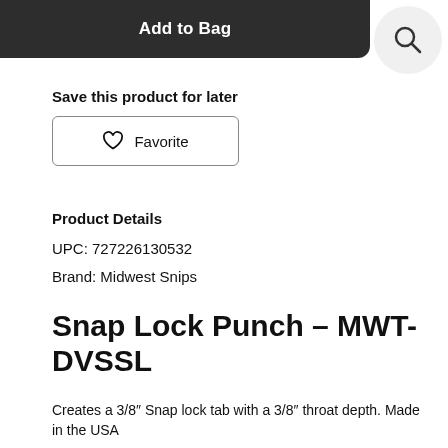Add to Bag
Save this product for later
♡ Favorite
Product Details
UPC: 727226130532
Brand: Midwest Snips
Snap Lock Punch – MWT-DVSSL
Creates a 3/8″ Snap lock tab with a 3/8″ throat depth. Made in the USA